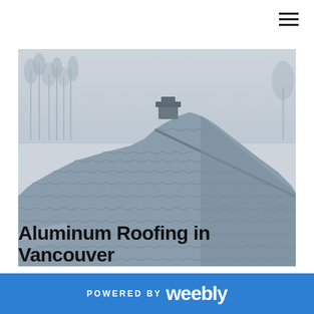[Figure (photo): A gray aluminum/metal tile roof with wavy corrugated panels viewed from close up, showing the ridge and a small chimney vent at the top center. Bare winter trees visible in the background against an overcast gray sky.]
Aluminum Roofing in Vancouver
POWERED BY weebly